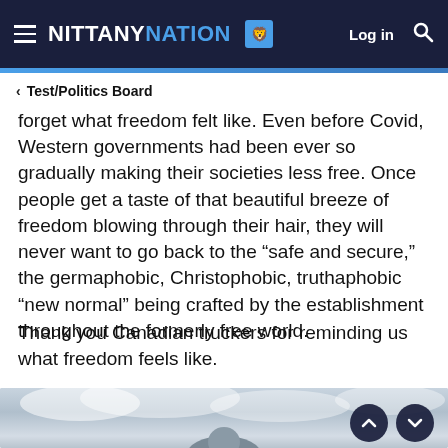NITTANY NATION | Log in | Search
< Test/Politics Board
forget what freedom felt like. Even before Covid, Western governments had been ever so gradually making their societies less free. Once people get a taste of that beautiful breeze of freedom blowing through their hair, they will never want to go back to the “safe and secure,” the germaphobic, Christophobic, truthaphobic “new normal” being crafted by the establishment throughout the formerly free world.
Thank you Canadian truckers for reminding us what freedom feels like.
[Figure (photo): Photo showing a person (from behind) with white/grey cloudy sky background, partially visible at bottom of page]